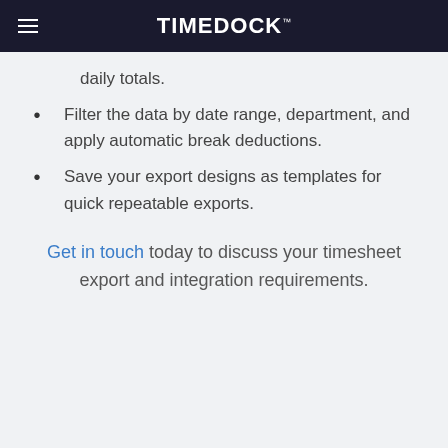TIMEDOCK™
daily totals.
Filter the data by date range, department, and apply automatic break deductions.
Save your export designs as templates for quick repeatable exports.
Get in touch today to discuss your timesheet export and integration requirements.